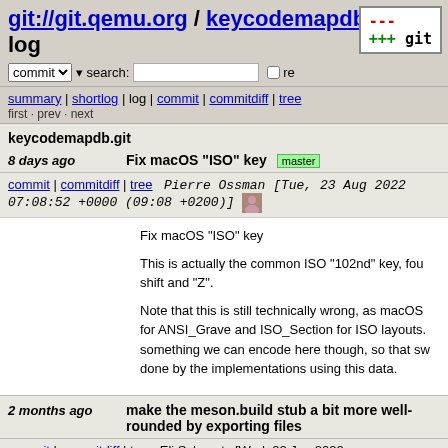git://git.qemu.org / keycodemapdb.git / log
commit search: re
summary | shortlog | log | commit | commitdiff | tree
first · prev · next
keycodemapdb.git
8 days ago   Fix macOS "ISO" key  master
commit | commitdiff | tree   Pierre Ossman [Tue, 23 Aug 2022 07:08:52 +0000 (09:08 +0200)]
Fix macOS "ISO" key

This is actually the common ISO "102nd" key, found between left shift and "Z".

Note that this is still technically wrong, as macOS for ANSI_Grave and ISO_Section for ISO layouts. something we can encode here though, so that sw done by the implementations using this data.
2 months ago   make the meson.build stub a bit more well-rounded by exporting files
commit | commitdiff | tree   Eli Schwartz [Wed, 22 Jun 2022